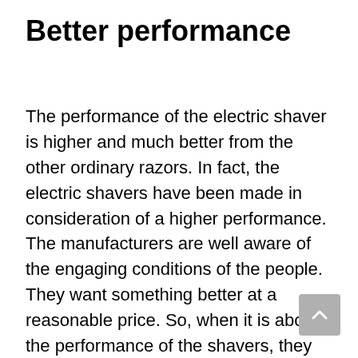Better performance
The performance of the electric shaver is higher and much better from the other ordinary razors. In fact, the electric shavers have been made in consideration of a higher performance. The manufacturers are well aware of the engaging conditions of the people. They want something better at a reasonable price. So, when it is about the performance of the shavers, they need the best one. Accordingly, the manufacturers have produced good numbers of a product that comes with some unique features and offers some best options. The usual performance of an electric shaver is much better than the usual razors that people use.